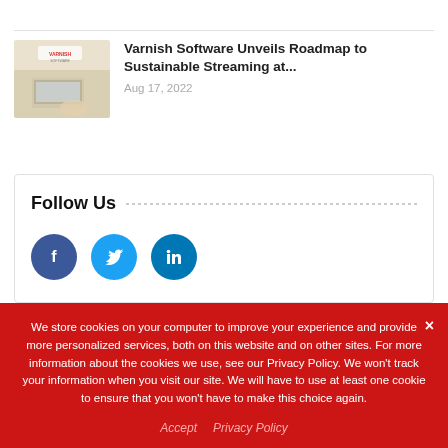[Figure (photo): Thumbnail photo of person using laptop, Varnish Software logo visible]
Varnish Software Unveils Roadmap to Sustainable Streaming at...
Aug 17, 2022
Follow Us
[Figure (logo): Facebook circle icon (blue)]
[Figure (logo): Twitter circle icon (light blue)]
[Figure (logo): LinkedIn circle icon (dark blue)]
We store cookies on your computer to improve your experience and provide more personalized services, both on this website and on other sites. For more information about the cookies we use, see our Privacy Policy. We won't track your information when you visit our site. We will have to use at least one cookie to ensure that you won't have to make this choice again.
Accept   Privacy Policy